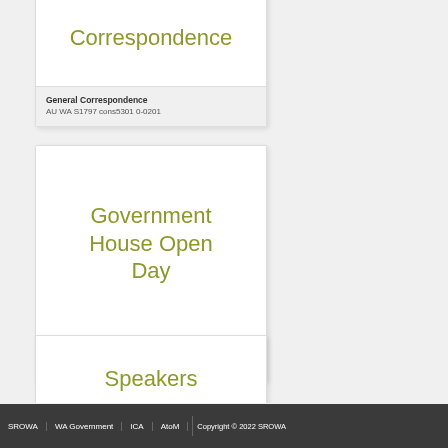Correspondence
General Correspondence
AU WA S1797 cons5301 0-0201
Government House Open Day
Government House Open Day
AU WA S1797 cons5301 0-0202
Speakers
SROWA | WA Government | ICA | AtoM | Copyright © 2022 SROWA